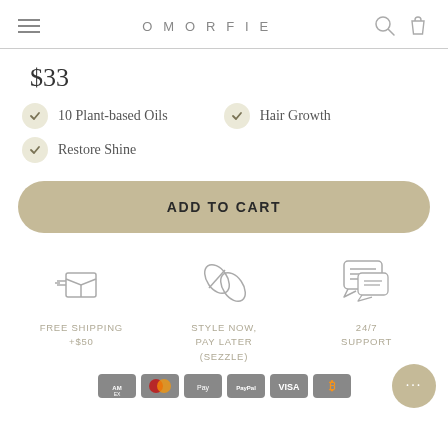OMORFIE
$33
10 Plant-based Oils
Hair Growth
Restore Shine
ADD TO CART
FREE SHIPPING +$50
STYLE NOW, PAY LATER (sezzle)
24/7 SUPPORT